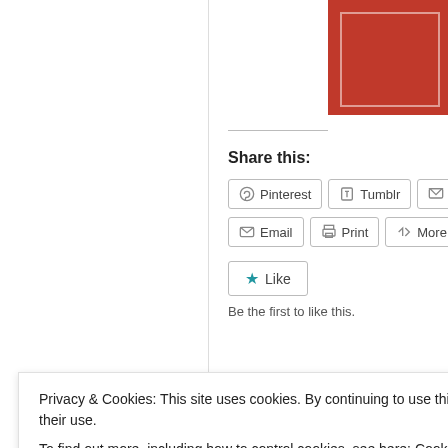[Figure (photo): Red background image partially visible in the top-right corner of the page]
Share this:
Pinterest  Tumblr  Pocket
Email  Print  More
Like
Be the first to like this.
13 comments on “Artist non-statemer
Privacy & Cookies: This site uses cookies. By continuing to use this website, you agree to their use.
To find out more, including how to control cookies, see here: Cookie Policy
Close and accept